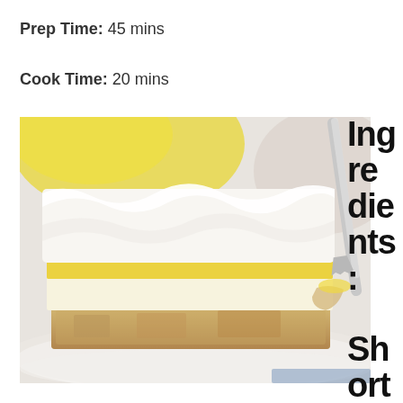Prep Time: 45 mins
Cook Time: 20 mins
[Figure (photo): Close-up photo of a layered lemon dessert bar on a white plate, showing distinct layers: shortbread crust at the bottom, lemon curd layer in the middle, and thick whipped cream on top, with a fork lifting a piece.]
Ingredients: Shortbrea